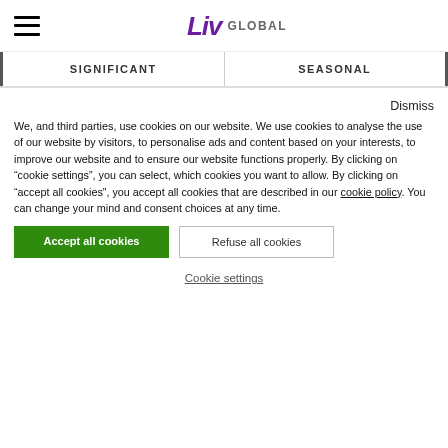Liv GLOBAL — SIGNIFICANT | SEASONAL
Dismiss
We, and third parties, use cookies on our website. We use cookies to analyse the use of our website by visitors, to personalise ads and content based on your interests, to improve our website and to ensure our website functions properly. By clicking on “cookie settings”, you can select, which cookies you want to allow. By clicking on “accept all cookies”, you accept all cookies that are described in our cookie policy. You can change your mind and consent choices at any time.
Accept all cookies
Refuse all cookies
Cookie settings